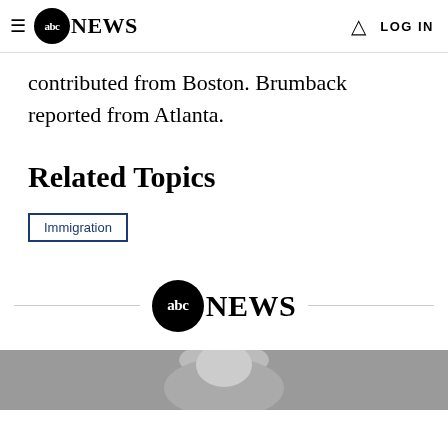ABC NEWS — Navigation bar with hamburger menu, ABC News logo, bell icon, and LOG IN
contributed from Boston. Brumback reported from Atlanta.
Related Topics
Immigration
[Figure (logo): ABC News logo centered with horizontal divider lines on either side]
[Figure (photo): Black and white photo at bottom of page, partially visible]